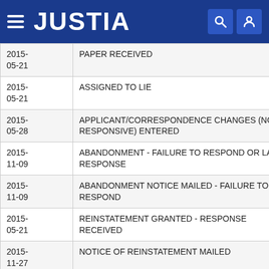JUSTIA
| Date | Event |
| --- | --- |
| 2015-05-21 | PAPER RECEIVED |
| 2015-05-21 | ASSIGNED TO LIE |
| 2015-05-28 | APPLICANT/CORRESPONDENCE CHANGES (NON-RESPONSIVE) ENTERED |
| 2015-11-09 | ABANDONMENT - FAILURE TO RESPOND OR LATE RESPONSE |
| 2015-11-09 | ABANDONMENT NOTICE MAILED - FAILURE TO RESPOND |
| 2015-05-21 | REINSTATEMENT GRANTED - RESPONSE RECEIVED |
| 2015-11-27 | NOTICE OF REINSTATEMENT MAILED |